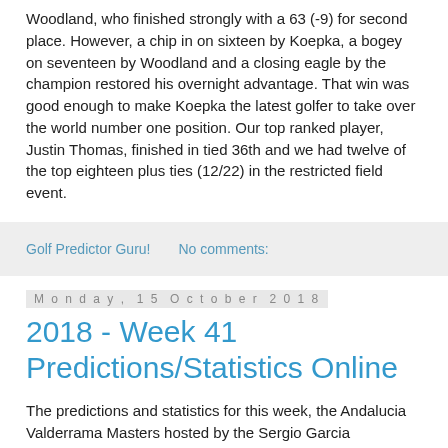Woodland, who finished strongly with a 63 (-9) for second place. However, a chip in on sixteen by Koepka, a bogey on seventeen by Woodland and a closing eagle by the champion restored his overnight advantage. That win was good enough to make Koepka the latest golfer to take over the world number one position. Our top ranked player, Justin Thomas, finished in tied 36th and we had twelve of the top eighteen plus ties (12/22) in the restricted field event.
Golf Predictor Guru!    No comments:
Monday, 15 October 2018
2018 - Week 41 Predictions/Statistics Online
The predictions and statistics for this week, the Andalucia Valderrama Masters hosted by the Sergio Garcia Foundation (European PGA Tour) and The CJ Cup @ Nine Bridges (US PGA Tour) are now available on Golf Predictor. The PGA Tour returns to Jeju Island in South Korea on the second leg